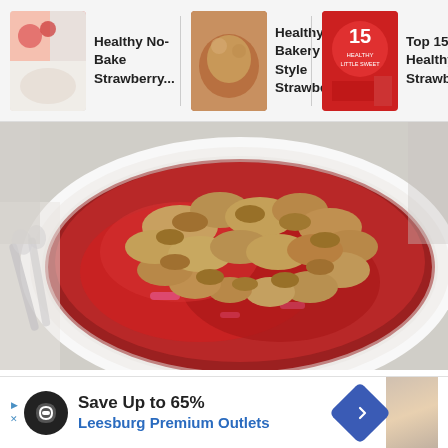[Figure (screenshot): Website carousel showing three recipe thumbnails: 'Healthy No-Bake Strawberry...', 'Healthy Bakery Style Strawberry...', 'Top 15 Healthy Strawber...']
[Figure (photo): Main food photo of a strawberry rhubarb crumble in a white oval baking dish, topped with oat crumble, with vintage silver spoons beside it. UI overlay buttons visible: up arrow, heart/save, search icons. Count label '221' visible.]
Save Up to 65%
Leesburg Premium Outlets